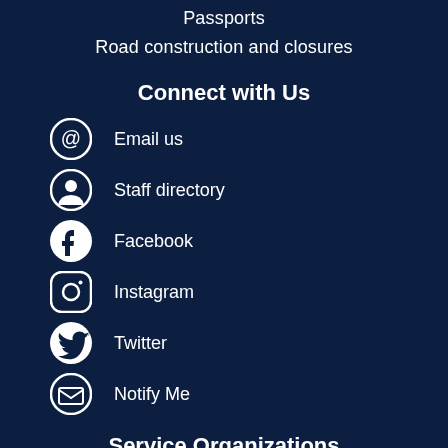Passports
Road construction and closures
Connect with Us
Email us
Staff directory
Facebook
Instagram
Twitter
Notify Me
Service Organizations
t Chamber of Commerce
Age-Friendly Maple Grove